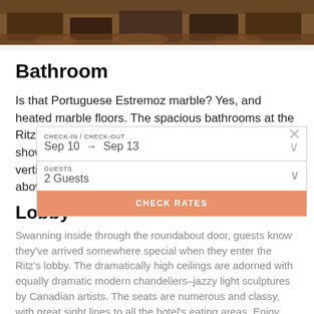[Figure (photo): Hotel room interior photo strip showing furniture and patterned carpet in warm brown tones]
Bathroom
Is that Portuguese Estremoz marble? Yes, and heated marble floors. The spacious bathrooms at the Ritz boast double sinks, soaker tubs with handheld shower and bath caddy, glass shower stalls and vertical light strips. Their robes are always a cut above, too.
Lobby
Swanning inside through the roundabout door, guests know they've arrived somewhere special when they enter the Ritz's lobby. The dramatically high ceilings are adorned with equally dramatic modern chandeliers–jazzy light sculptures by Canadian artists. The seats are numerous and classy, with great sight lines to all the hotel's eating areas. Enjoy some people watching, as famous